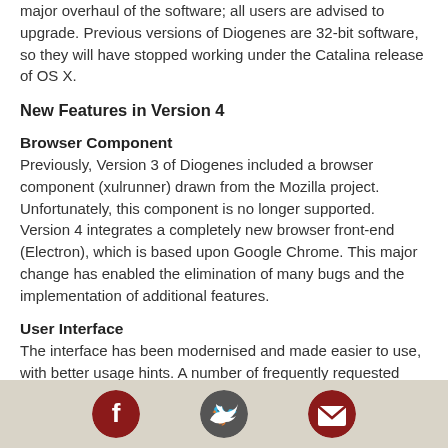major overhaul of the software; all users are advised to upgrade. Previous versions of Diogenes are 32-bit software, so they will have stopped working under the Catalina release of OS X.
New Features in Version 4
Browser Component
Previously, Version 3 of Diogenes included a browser component (xulrunner) drawn from the Mozilla project. Unfortunately, this component is no longer supported. Version 4 integrates a completely new browser front-end (Electron), which is based upon Google Chrome. This major change has enabled the elimination of many bugs and the implementation of additional features.
User Interface
The interface has been modernised and made easier to use, with better usage hints. A number of frequently requested new features have been added, such as the ability to do a quick